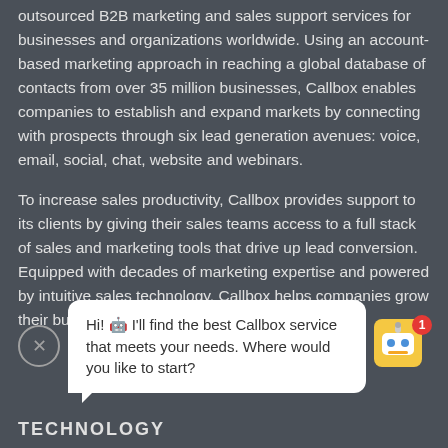outsourced B2B marketing and sales support services for businesses and organizations worldwide. Using an account-based marketing approach in reaching a global database of contacts from over 35 million businesses, Callbox enables companies to establish and expand markets by connecting with prospects through six lead generation avenues: voice, email, social, chat, website and webinars.
To increase sales productivity, Callbox provides support to its clients by giving their sales teams access to a full stack of sales and marketing tools that drive up lead conversion. Equipped with decades of marketing expertise and powered by intuitive sales technology, Callbox helps companies grow their business exponentially.
[Figure (screenshot): Chat widget with close (X) button, white speech bubble saying 'Hi! 🤖 I'll find the best Callbox service that meets your needs. Where would you like to start?' and a robot mascot icon with a red notification badge showing 1]
TECHNOLOGY